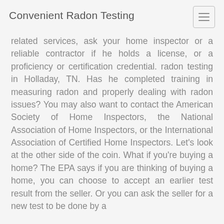Convenient Radon Testing
related services, ask your home inspector or a reliable contractor if he holds a license, or a proficiency or certification credential. radon testing in Holladay, TN. Has he completed training in measuring radon and properly dealing with radon issues? You may also want to contact the American Society of Home Inspectors, the National Association of Home Inspectors, or the International Association of Certified Home Inspectors. Let's look at the other side of the coin. What if you're buying a home? The EPA says if you are thinking of buying a home, you can choose to accept an earlier test result from the seller. Or you can ask the seller for a new test to be done by a